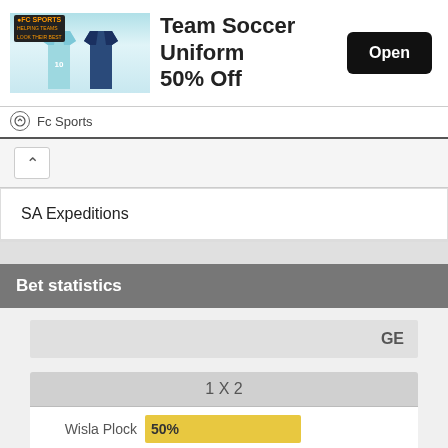[Figure (screenshot): Advertisement banner for FC Sports - Team Soccer Uniform 50% Off with Open button]
Fc Sports
SA Expeditions
Bet statistics
GE
1 X 2
[Figure (bar-chart): 1 X 2]
back to top